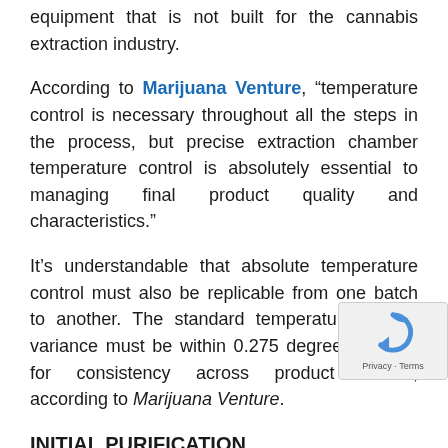equipment that is not built for the cannabis extraction industry.
According to Marijuana Venture, "temperature control is necessary throughout all the steps in the process, but precise extraction chamber temperature control is absolutely essential to managing final product quality and characteristics."
It’s understandable that absolute temperature control must also be replicable from one batch to another. The standard temperature control variance must be within 0.275 degrees Celsius for consistency across product results, according to Marijuana Venture.
INITIAL PURIFICATION PROCESS REQUIRES TEMPERATURE CONTROL
For the final product purification, dewaxing and